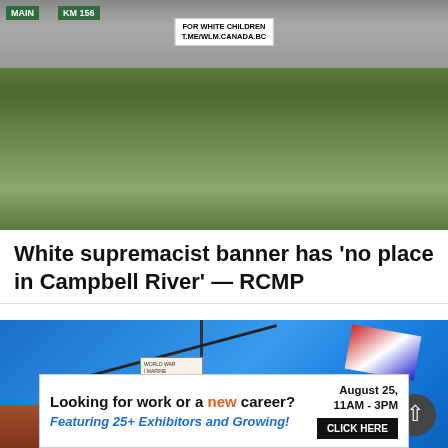[Figure (photo): Photo of an overpass with a white supremacist banner hung from it, surrounded by dense green trees and vegetation. Two green highway signs visible at top left, including 'MAIN' and 'KM 156'.]
White supremacist banner has 'no place in Campbell River' — RCMP
[Figure (photo): Photo of a marina/harbor scene showing a sailboat mast, boom, and a British flag against a blue sky, with a marina sign visible.]
Looking for work or a new career? August 25, 11AM - 3PM Featuring 25+ Exhibitors and Growing! CLICK HERE